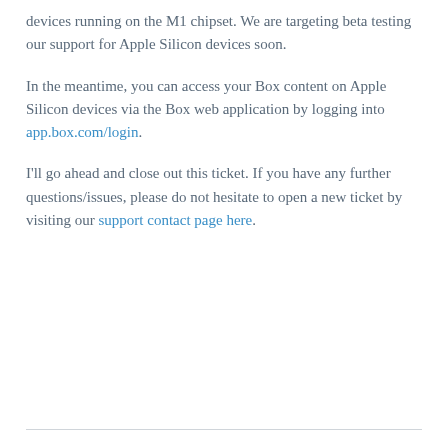devices running on the M1 chipset. We are targeting beta testing our support for Apple Silicon devices soon.
In the meantime, you can access your Box content on Apple Silicon devices via the Box web application by logging into app.box.com/login.
I'll go ahead and close out this ticket. If you have any further questions/issues, please do not hesitate to open a new ticket by visiting our support contact page here.